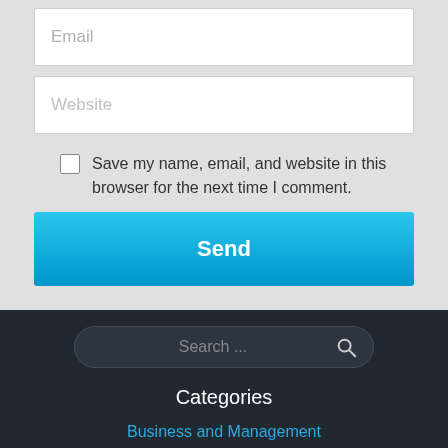[Figure (screenshot): Email input field with placeholder text 'Email']
[Figure (screenshot): Website input field with placeholder text 'Website']
Save my name, email, and website in this browser for the next time I comment.
[Figure (screenshot): Send button with blue gradient background]
[Figure (screenshot): Search bar with placeholder 'Search ...' and magnifying glass icon]
Categories
Business and Management
Buying The Right EC In Singapore
Education